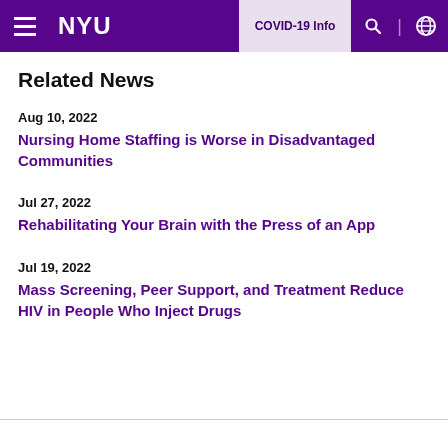NYU | COVID-19 Info
Related News
Aug 10, 2022
Nursing Home Staffing is Worse in Disadvantaged Communities
Jul 27, 2022
Rehabilitating Your Brain with the Press of an App
Jul 19, 2022
Mass Screening, Peer Support, and Treatment Reduce HIV in People Who Inject Drugs